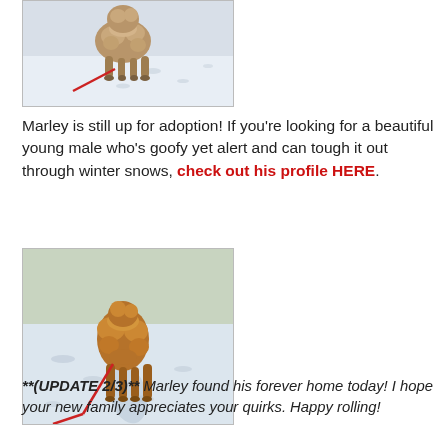[Figure (photo): A curly-haired dog (likely Marley) walking in snow, viewed from behind, with a red leash, sniffing the ground.]
Marley is still up for adoption! If you're looking for a beautiful young male who's goofy yet alert and can tough it out through winter snows, check out his profile HERE.
[Figure (photo): A golden/reddish fluffy dog (Marley) standing in snow viewed from behind, attached to a red leash, casting a shadow on snowy ground.]
**(UPDATE 2/3)** Marley found his forever home today! I hope your new family appreciates your quirks. Happy rolling!